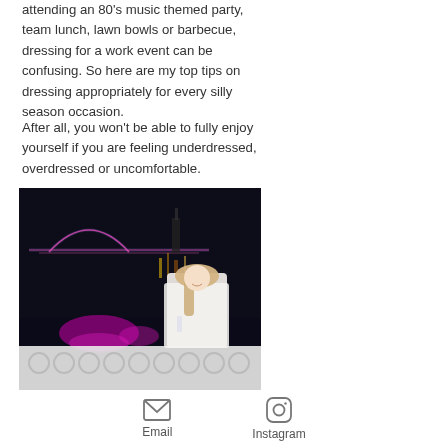attending an 80's music themed party, team lunch, lawn bowls or barbecue, dressing for a work event can be confusing. So here are my top tips on dressing appropriately for every silly season occasion.
After all, you won't be able to fully enjoy yourself if you are feeling underdressed, overdressed or uncomfortable.
[Figure (photo): A blonde woman in a white blazer and light-coloured outfit standing at night in front of an illuminated bridge (Story Bridge, Brisbane) lit with pink and purple lights, with city reflections on water in the background.]
Email
Instagram